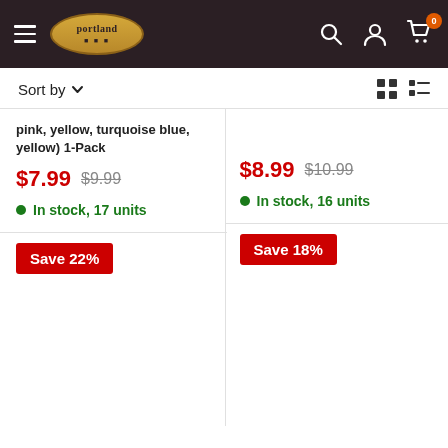Portland Trading Co. header with navigation icons
Sort by
pink, yellow, turquoise blue, yellow) 1-Pack
$7.99  $9.99
In stock, 17 units
$8.99  $10.99
In stock, 16 units
Save 22%
Save 18%